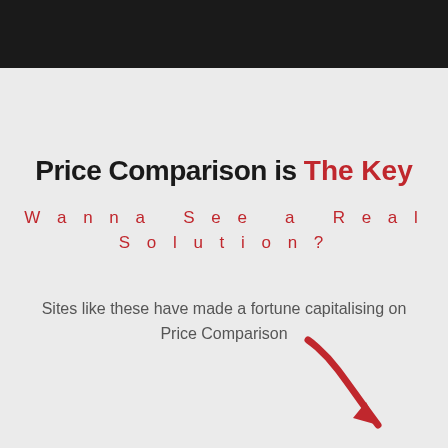[Figure (other): Dark header bar at top of page]
Price Comparison is The Key
Wanna See a Real Solution?
Sites like these have made a fortune capitalising on Price Comparison
[Figure (illustration): Red curved arrow pointing down and to the right]